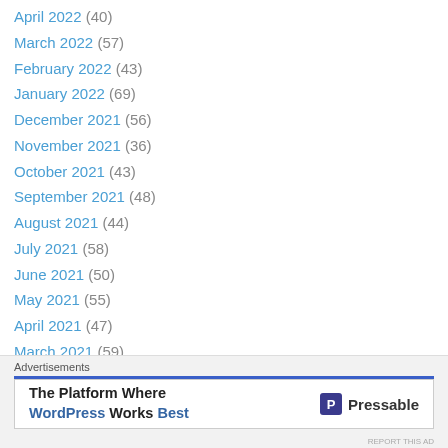April 2022 (40)
March 2022 (57)
February 2022 (43)
January 2022 (69)
December 2021 (56)
November 2021 (36)
October 2021 (43)
September 2021 (48)
August 2021 (44)
July 2021 (58)
June 2021 (50)
May 2021 (55)
April 2021 (47)
March 2021 (59)
February 2021 (46)
January 2021 (59)
December 2020 (59)
Advertisements
The Platform Where WordPress Works Best — Pressable